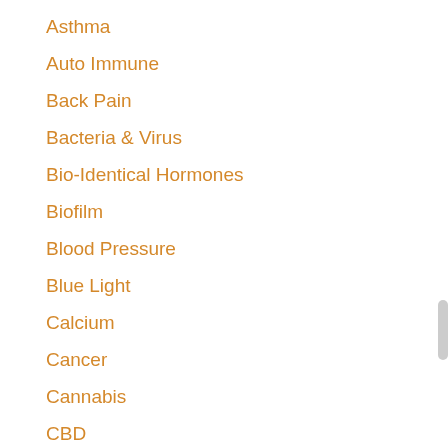Asthma
Auto Immune
Back Pain
Bacteria & Virus
Bio-Identical Hormones
Biofilm
Blood Pressure
Blue Light
Calcium
Cancer
Cannabis
CBD
Celiac Sprue
Chiropractic
Circadian Rhythm